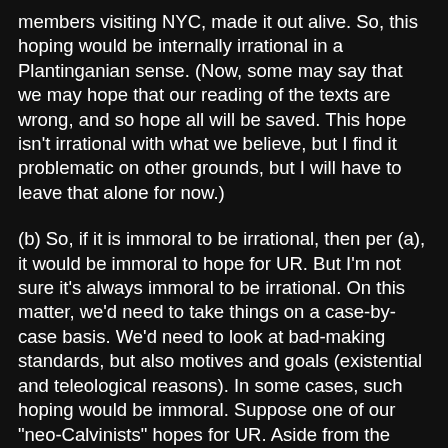members visiting NYC, made it out alive. So, this hoping would be internally irrational in a Plantinganian sense. (Now, some may say that we may hope that our reading of the texts are wrong, and so hope all will be saved. This hope isn't irrational with what we believe, but I find it problematic on other grounds, but I will have to leave that alone for now.)
(b) So, if it is immoral to be irrational, then per (a), it would be immoral to hope for UR. But I'm not sure it's always immoral to be irrational. On this matter, we'd need to take things on a case-by-case basis. We'd need to look at bad-making standards, but also motives and goals (existential and teleological reasons). In some cases, such hoping would be immoral. Suppose one of our "neo-Calvinists" hopes for UR. Aside from the irrationality of this hope, which he should drop once the contradiction is pointed out to him, suppose he hopes all will be saved so he can fit in at the academy by telling people he has this hope, because he believes others think only a monster wouldn't at least hope for